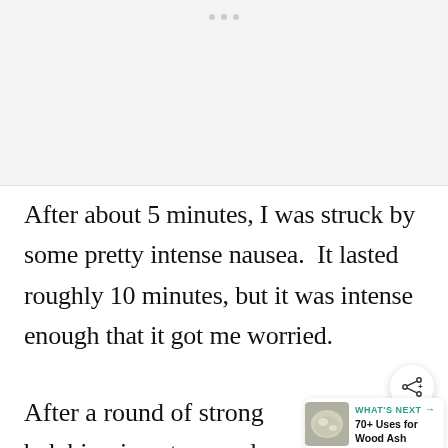[Figure (other): Top gray blank area with three small gray dots at top center, representing a mobile browser or app UI element]
After about 5 minutes, I was struck by some pretty intense nausea.  It lasted roughly 10 minutes, but it was intense enough that it got me worried.
After a round of strong belching is not normal for me, nausea subsided.